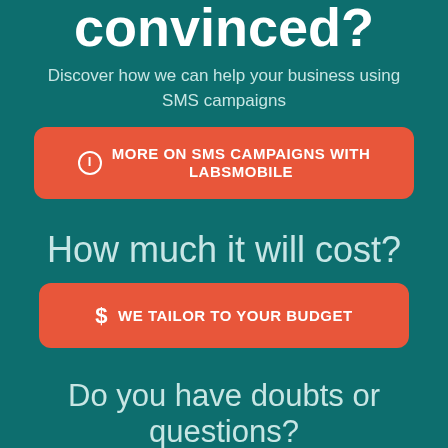convinced?
Discover how we can help your business using SMS campaigns
[Figure (other): Red rounded button with info icon and text: MORE ON SMS CAMPAIGNS WITH LABSMOBILE]
How much it will cost?
[Figure (other): Red rounded button with dollar sign icon and text: WE TAILOR TO YOUR BUDGET]
Do you have doubts or questions?
[Figure (other): Red rounded button with chat icon and text: CONTACT US]